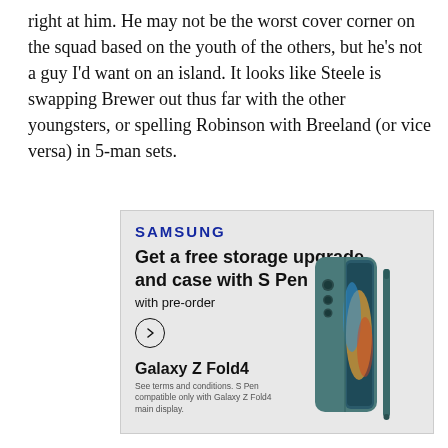right at him. He may not be the worst cover corner on the squad based on the youth of the others, but he's not a guy I'd want on an island. It looks like Steele is swapping Brewer out thus far with the other youngsters, or spelling Robinson with Breeland (or vice versa) in 5-man sets.
[Figure (other): Samsung advertisement for Galaxy Z Fold4. Shows Samsung logo, headline 'Get a free storage upgrade and case with S Pen', subtext 'with pre-order', a circular arrow button, the Galaxy Z Fold4 device image with S Pen, product name 'Galaxy Z Fold4', and disclaimer text 'See terms and conditions. S Pen compatible only with Galaxy Z Fold4 main display.']